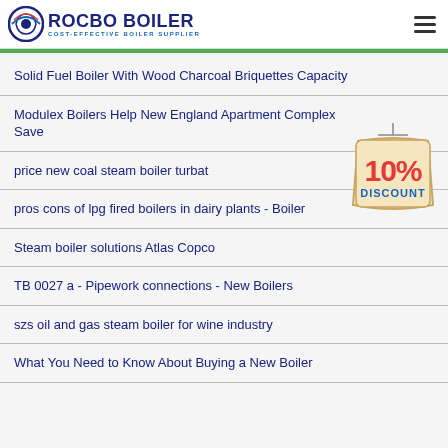ROCBO BOILER — COST-EFFECTIVE BOILER SUPPLIER
Solid Fuel Boiler With Wood Charcoal Briquettes Capacity
Modulex Boilers Help New England Apartment Complex Save
price new coal steam boiler turbat
pros cons of lpg fired boilers in dairy plants - Boiler
Steam boiler solutions Atlas Copco
TB 0027 a - Pipework connections - New Boilers
szs oil and gas steam boiler for wine industry
What You Need to Know About Buying a New Boiler
[Figure (illustration): 10% DISCOUNT badge/stamp graphic in red and blue colors]